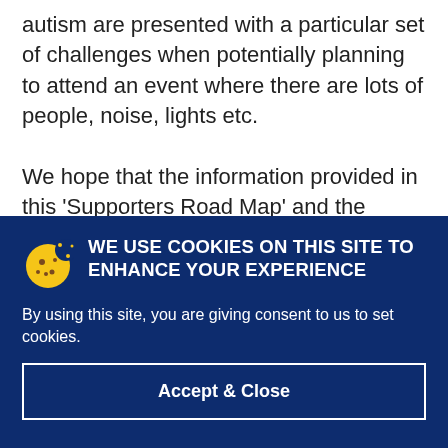autism are presented with a particular set of challenges when potentially planning to attend an event where there are lots of people, noise, lights etc.

We hope that the information provided in this 'Supporters Road Map' and the associated video and links will help you to
WE USE COOKIES ON THIS SITE TO ENHANCE YOUR EXPERIENCE
By using this site, you are giving consent to us to set cookies.
Accept & Close